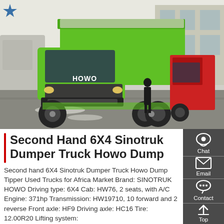[Figure (photo): A green HOWO 6X4 dump truck (Sinotruk brand) parked in a lot, seen from the front-right. A red truck is visible in the background, along with a building. A man in dark clothing stands behind the green truck.]
Second Hand 6X4 Sinotruk Dumper Truck Howo Dump
Second hand 6X4 Sinotruk Dumper Truck Howo Dump Tipper Used Trucks for Africa Market Brand: SINOTRUK HOWO Driving type: 6X4 Cab: HW76, 2 seats, with A/C Engine: 371hp Transmission: HW19710, 10 forward and 2 reverse Front axle: HF9 Driving axle: HC16 Tire: 12.00R20 Lifting system: